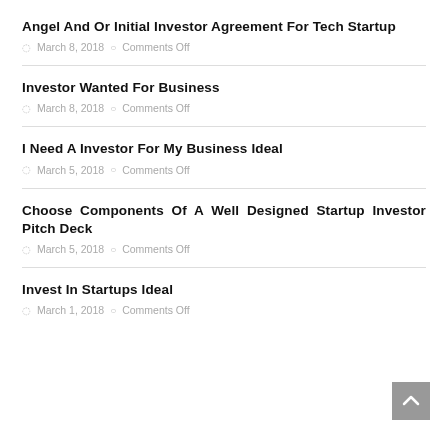Angel And Or Initial Investor Agreement For Tech Startup
March 8, 2018   Comments Off
Investor Wanted For Business
March 8, 2018   Comments Off
I Need A Investor For My Business Ideal
March 5, 2018   Comments Off
Choose Components Of A Well Designed Startup Investor Pitch Deck
March 5, 2018   Comments Off
Invest In Startups Ideal
March 1, 2018   Comments Off